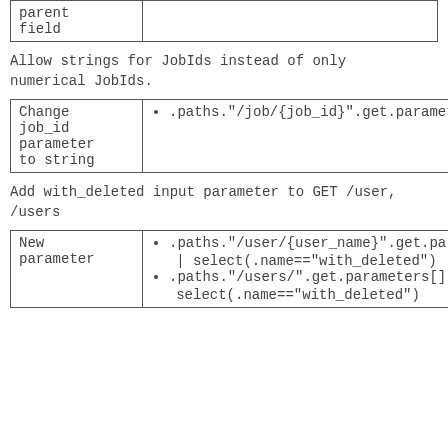| parent
field |  |
Allow strings for JobIds instead of only numerical JobIds.
| Change
job_id
parameter
to string | .paths."/job/{job_id}".get.parameters[].sc |
Add with_deleted input parameter to GET /user, /users
| New
parameter | .paths."/user/{user_name}".get.paramet | select(.name=="with_deleted")
.paths."/users/".get.parameters[] | select(.name=="with_deleted") |